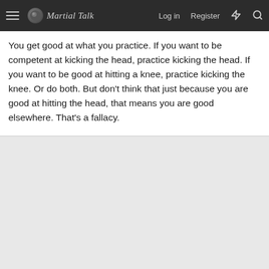Martial Talk — Log in  Register
You get good at what you practice. If you want to be competent at kicking the head, practice kicking the head. If you want to be good at hitting a knee, practice kicking the knee. Or do both. But don't think that just because you are good at hitting the head, that means you are good elsewhere. That's a fallacy.